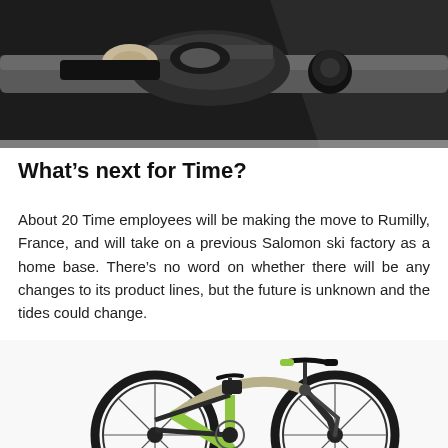[Figure (photo): Close-up photo of a cycling cleat/pedal mechanism against a dark background with a metal rail]
What's next for Time?
About 20 Time employees will be making the move to Rumilly, France, and will take on a previous Salomon ski factory as a home base. There's no word on whether there will be any changes to its product lines, but the future is unknown and the tides could change.
[Figure (photo): A mountain bike with a lime green and silver/beige frame and black components, photographed from the front-left side]